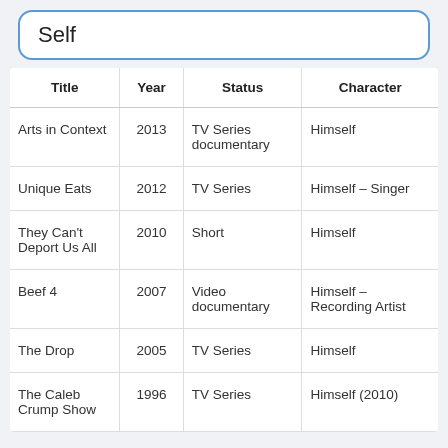Self
| Title | Year | Status | Character |
| --- | --- | --- | --- |
| Arts in Context | 2013 | TV Series documentary | Himself |
| Unique Eats | 2012 | TV Series | Himself – Singer |
| They Can't Deport Us All | 2010 | Short | Himself |
| Beef 4 | 2007 | Video documentary | Himself – Recording Artist |
| The Drop | 2005 | TV Series | Himself |
| The Caleb Crump Show | 1996 | TV Series | Himself (2010) |